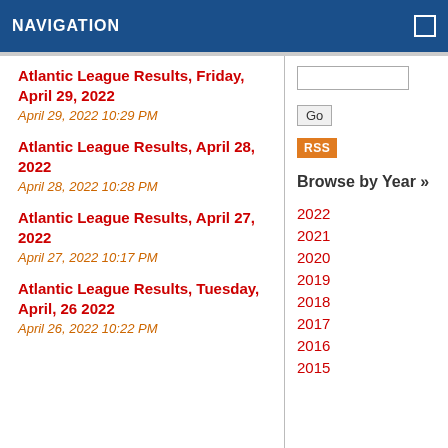NAVIGATION
Atlantic League Results, Friday, April 29, 2022
April 29, 2022 10:29 PM
Atlantic League Results, April 28, 2022
April 28, 2022 10:28 PM
Atlantic League Results, April 27, 2022
April 27, 2022 10:17 PM
Atlantic League Results, Tuesday, April, 26 2022
April 26, 2022 10:22 PM
Browse by Year »
2022
2021
2020
2019
2018
2017
2016
2015